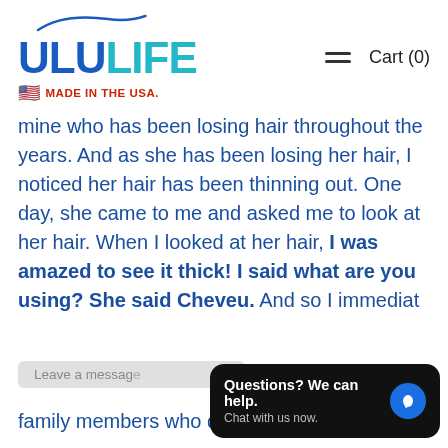[Figure (logo): UluLife logo with blue swoosh above text. 'ULU' in dark blue bold, 'LIFE' in teal/cyan bold, with 'MADE IN THE USA.' in red below with US flag emoji.]
Cart (0)
mine who has been losing hair throughout the years. And as she has been losing her hair, I noticed her hair has been thinning out. One day, she came to me and asked me to look at her hair. When I looked at her hair, I was amazed to see it thick! I said what are you using? She said Cheveu. And so I immediately [Leave a message] family members who do have thinning
Questions? We can help. Chat with us now.